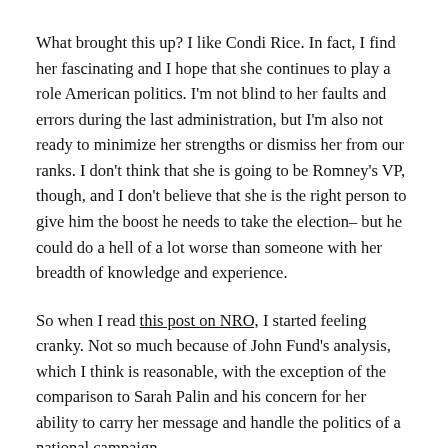What brought this up? I like Condi Rice. In fact, I find her fascinating and I hope that she continues to play a role American politics. I'm not blind to her faults and errors during the last administration, but I'm also not ready to minimize her strengths or dismiss her from our ranks. I don't think that she is going to be Romney's VP, though, and I don't believe that she is the right person to give him the boost he needs to take the election– but he could do a hell of a lot worse than someone with her breadth of knowledge and experience.
So when I read this post on NRO, I started feeling cranky. Not so much because of John Fund's analysis, which I think is reasonable, with the exception of the comparison to Sarah Palin and his concern for her ability to carry her message and handle the politics of a national campaign.